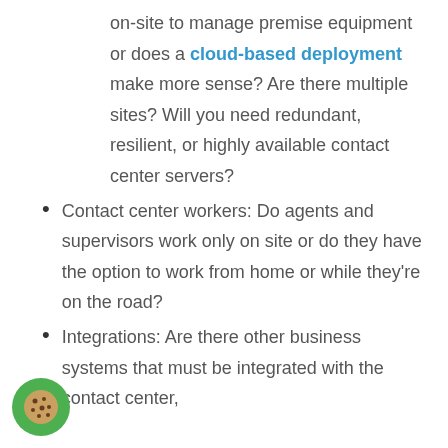on-site to manage premise equipment or does a cloud-based deployment make more sense? Are there multiple sites? Will you need redundant, resilient, or highly available contact center servers?
Contact center workers: Do agents and supervisors work only on site or do they have the option to work from home or while they're on the road?
Integrations: Are there other business systems that must be integrated with the contact center,